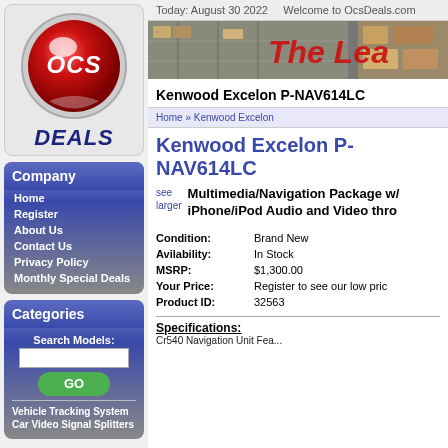[Figure (logo): OCS Deals logo — red spherical ball with OCS text in white, DEALS in bold italic blue below]
Company
Home
Register
About Us
Contact Us
Privacy Policy
Monthly Special Deals
Categories
Search Models:
Vehicle Tracking System
Car Video Signal Splitters
Today: August 30 2022    Welcome to OcsDeals.com
[Figure (photo): Banner photo of warehouse shelving with text 'The Leac' (The Leader) in red]
Kenwood Excelon P-NAV614LC
Home » Kenwood Excelon
Kenwood Excelon P-NAV614LC
see larger
Multimedia/Navigation Package w/ iPhone/iPod Audio and Video thro
| Condition: | Brand New |
| Avilability: | In Stock |
| MSRP: | $1,300.00 |
| Your Price: | Register to see our low pric |
| Product ID: | 32563 |
Specifications:
Cr540 Navigation Unit Fea...